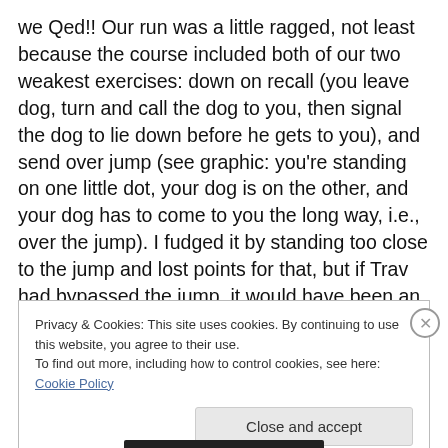we Qed!! Our run was a little ragged, not least because the course included both of our two weakest exercises: down on recall (you leave dog, turn and call the dog to you, then signal the dog to lie down before he gets to you), and send over jump (see graphic: you're standing on one little dot, your dog is on the other, and your dog has to come to you the long way, i.e., over the jump). I fudged it by standing too close to the jump and lost points for that, but if Trav had bypassed the jump, it would have been an NQ. It worked. I was (still am!) thrilled.
Privacy & Cookies: This site uses cookies. By continuing to use this website, you agree to their use. To find out more, including how to control cookies, see here: Cookie Policy